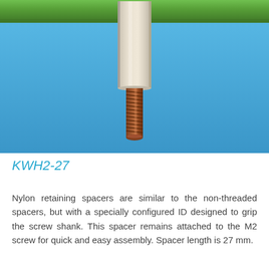[Figure (photo): Close-up photograph of a nylon retaining spacer (KWH2-27) mounted through a green PCB or panel, showing the white cylindrical nylon body above and a threaded copper/bronze screw shank below, against a blue background.]
KWH2-27
Nylon retaining spacers are similar to the non-threaded spacers, but with a specially configured ID designed to grip the screw shank. This spacer remains attached to the M2 screw for quick and easy assembly. Spacer length is 27 mm.